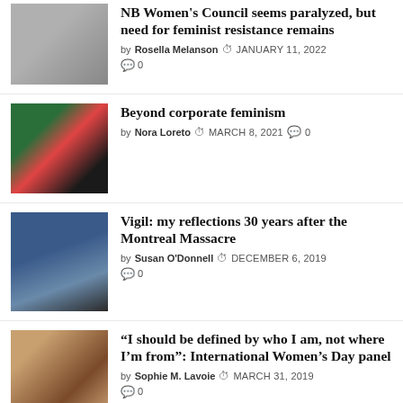NB Women's Council seems paralyzed, but need for feminist resistance remains
Beyond corporate feminism
Vigil: my reflections 30 years after the Montreal Massacre
“I should be defined by who I am, not where I’m from”: International Women’s Day panel
Women's March Fredericton...